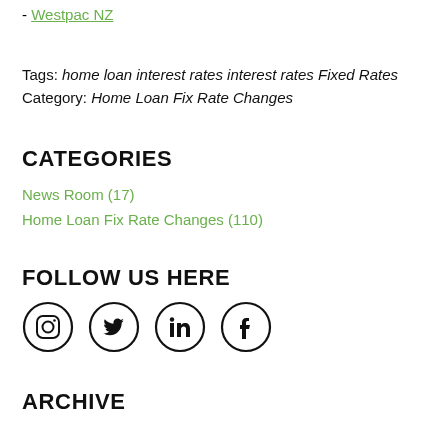- Westpac NZ
Tags: home loan interest rates interest rates Fixed Rates
Category: Home Loan Fix Rate Changes
CATEGORIES
News Room (17)
Home Loan Fix Rate Changes (110)
FOLLOW US HERE
[Figure (illustration): Four social media icons in circles: Instagram, Twitter, LinkedIn, Facebook]
ARCHIVE